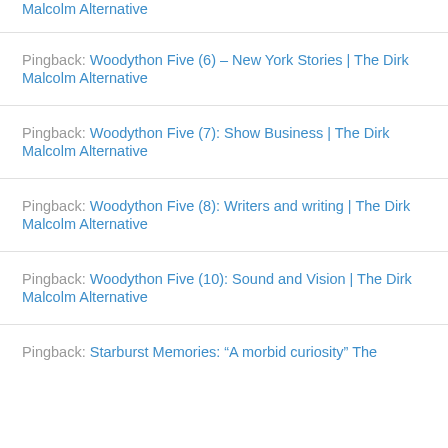Pingback: Malcolm Alternative
Pingback: Woodython Five (6) – New York Stories | The Dirk Malcolm Alternative
Pingback: Woodython Five (7): Show Business | The Dirk Malcolm Alternative
Pingback: Woodython Five (8): Writers and writing | The Dirk Malcolm Alternative
Pingback: Woodython Five (10): Sound and Vision | The Dirk Malcolm Alternative
Pingback: Starburst Memories: "A morbid curiosity" The